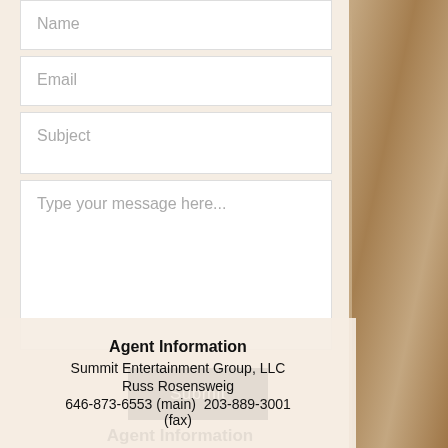Name
Email
Subject
Type your message here...
Submit
Agent Information
Summit Entertainment Group, LLC
Russ Rosensweig
646-873-6553 (main)  203-889-3001 (fax)